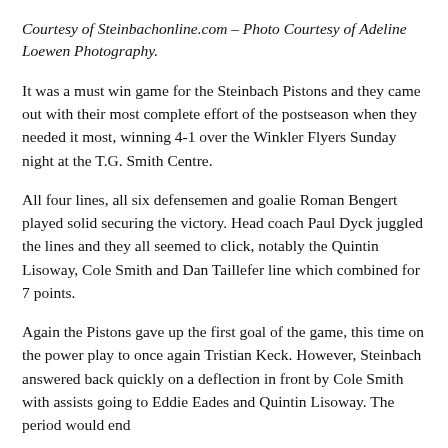Courtesy of Steinbachonline.com – Photo Courtesy of Adeline Loewen Photography.
It was a must win game for the Steinbach Pistons and they came out with their most complete effort of the postseason when they needed it most, winning 4-1 over the Winkler Flyers Sunday night at the T.G. Smith Centre.
All four lines, all six defensemen and goalie Roman Bengert played solid securing the victory. Head coach Paul Dyck juggled the lines and they all seemed to click, notably the Quintin Lisoway, Cole Smith and Dan Taillefer line which combined for 7 points.
Again the Pistons gave up the first goal of the game, this time on the power play to once again Tristian Keck. However, Steinbach answered back quickly on a deflection in front by Cole Smith with assists going to Eddie Eades and Quintin Lisoway. The period would end